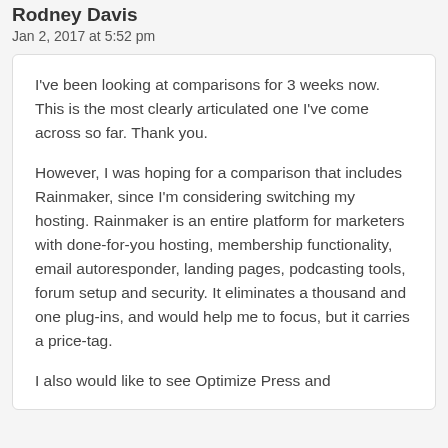Rodney Davis
Jan 2, 2017 at 5:52 pm
I've been looking at comparisons for 3 weeks now. This is the most clearly articulated one I've come across so far. Thank you.
However, I was hoping for a comparison that includes Rainmaker, since I'm considering switching my hosting. Rainmaker is an entire platform for marketers with done-for-you hosting, membership functionality, email autoresponder, landing pages, podcasting tools, forum setup and security. It eliminates a thousand and one plug-ins, and would help me to focus, but it carries a price-tag.
I also would like to see Optimize Press and